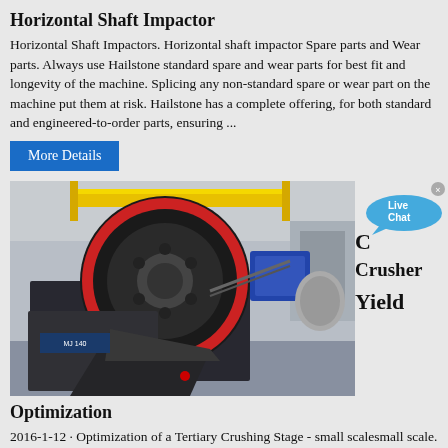Horizontal Shaft Impactor
Horizontal Shaft Impactors. Horizontal shaft impactor Spare parts and Wear parts. Always use Hailstone standard spare and wear parts for best fit and longevity of the machine. Splicing any non-standard spare or wear part on the machine put them at risk. Hailstone has a complete offering, for both standard and engineered-to-order parts, ensuring ...
More Details
[Figure (photo): Industrial jaw crusher machine in a factory/warehouse setting, with yellow overhead crane visible in background. Machine labeled MJ 140.]
C
Crusher
Yield
Optimization
2016-1-12 · Optimization of a Tertiary Crushing Stage - small scalesmall scale. Optimization of a Tertiary Crushinggg Stage ... Volumes [tph]Volumes [tph] ... Gfit$/hGross profit $/hour 142 151 176 160 178 162 129 137 180 175 176 165